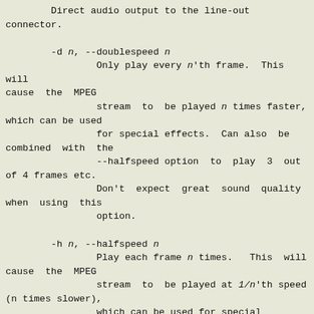Direct audio output to the line-out connector.

        -d n, --doublespeed n
                Only play every n'th frame.  This will cause the MPEG
                stream  to  be played n times faster, which can be used
                for special effects.  Can also  be combined  with  the
                --halfspeed option  to  play  3  out of 4 frames etc.
                Don't  expect  great  sound  quality when  using  this
                option.

        -h n, --halfspeed n
                Play each frame n times.   This  will cause  the  MPEG
                stream  to  be played at 1/n'th speed (n times slower),
                which can be used for special effects.  Can also be com-
                bined  with  the  --doublespeed  option to double every
                third frame or things like that.  Don't  expect  great
                sound quality when using this option.